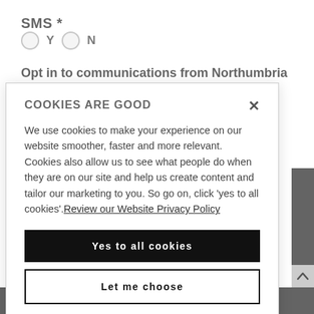SMS *
O Y  O N
Opt in to communications from Northumbria
COOKIES ARE GOOD
We use cookies to make your experience on our website smoother, faster and more relevant. Cookies also allow us to see what people do when they are on our site and help us create content and tailor our marketing to you. So go on, click 'yes to all cookies'. Review our Website Privacy Policy
Yes to all cookies
Let me choose
© Copyright 2022 Northumbria University